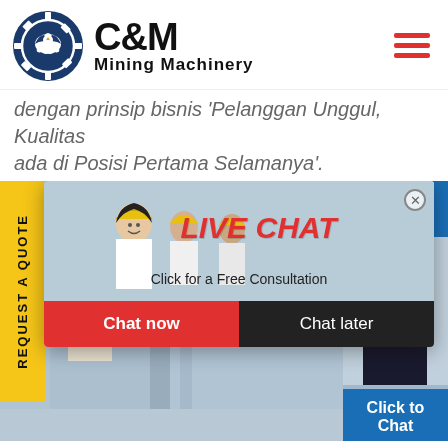[Figure (logo): C&M Mining Machinery logo with circular emblem featuring eagle/gear and bold text]
dengan prinsip bisnis 'Pelanggan Unggul, Kualitas ada di Posisi Pertama Selamanya'.
[Figure (screenshot): Live chat popup overlay on mining machinery website with workers in hard hats, LIVE CHAT heading in red, 'Click for a Free Consultation' subtitle, Chat now (red) and Chat later (dark) buttons. Side yellow REQUEST A QUOTE tab visible. Right panel shows Hours Online, customer service person with headset, Click to Chat button, and Enquiry heading.]